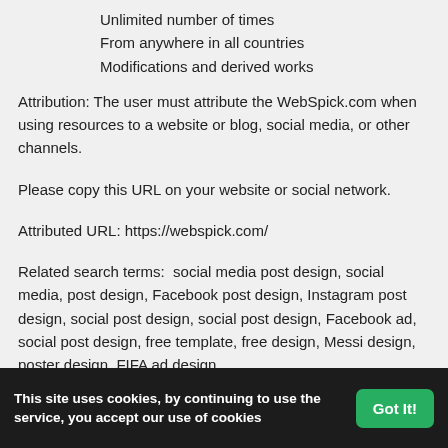Unlimited number of times
From anywhere in all countries
Modifications and derived works
Attribution: The user must attribute the WebSpick.com when using resources to a website or blog, social media, or other channels.
Please copy this URL on your website or social network.
Attributed URL: https://webspick.com/
Related search terms:  social media post design, social media, post design, Facebook post design, Instagram post design, social post design, social post design, Facebook ad, social post design, free template, free design, Messi design, poster design, FIFA ad design,
Tags
This site uses cookies, by continuing to use the service, you accept our use of cookies